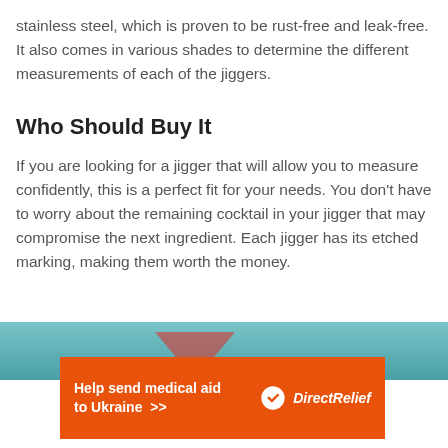stainless steel, which is proven to be rust-free and leak-free. It also comes in various shades to determine the different measurements of each of the jiggers.
Who Should Buy It
If you are looking for a jigger that will allow you to measure confidently, this is a perfect fit for your needs. You don’t have to worry about the remaining cocktail in your jigger that may compromise the next ingredient. Each jigger has its etched marking, making them worth the money.
[Figure (photo): Teal/blue background image with a red triangular shape visible, partially cropped at bottom of page.]
[Figure (infographic): Orange advertisement banner reading 'Help send medical aid to Ukraine >>' with Direct Relief logo on the right side.]